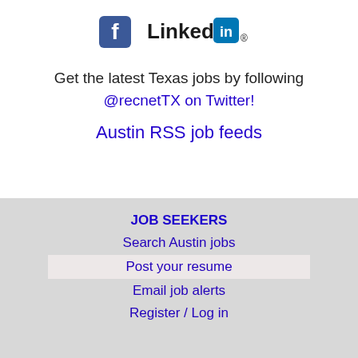[Figure (logo): Facebook and LinkedIn logos side by side]
Get the latest Texas jobs by following @recnetTX on Twitter!
Austin RSS job feeds
This website uses cookies to ensure you get the best experience on our website. Learn more
JOB SEEKERS
Search Austin jobs
Post your resume
Email job alerts
Register / Log in